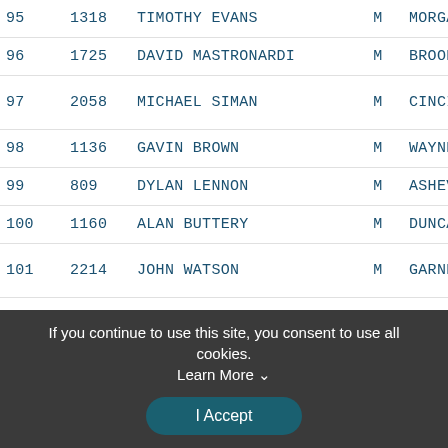| Rank | Bib | Name | Sex | Team |
| --- | --- | --- | --- | --- |
| 95 | 1318 | TIMOTHY EVANS | M | MORGA… |
| 96 | 1725 | DAVID MASTRONARDI | M | BROOK… |
| 97 | 2058 | MICHAEL SIMAN | M | CINCI… |
| 98 | 1136 | GAVIN BROWN | M | WAYNE… |
| 99 | 809 | DYLAN LENNON | M | ASHEV… |
| 100 | 1160 | ALAN BUTTERY | M | DUNCA… |
| 101 | 2214 | JOHN WATSON | M | GARNE… |
| 102 | 2233 | JASON WILLIAMS | M | SIMPS… |
| 103 | 1346 | SETH FOLEY | M | HENDE… |
If you continue to use this site, you consent to use all cookies. Learn More
I Accept